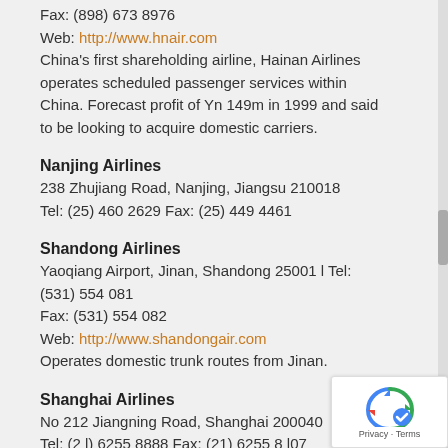Fax: (898) 673 8976
Web: http://www.hnair.com
China's first shareholding airline, Hainan Airlines operates scheduled passenger services within China. Forecast profit of Yn 149m in 1999 and said to be looking to acquire domestic carriers.
Nanjing Airlines
238 Zhujiang Road, Nanjing, Jiangsu 210018
Tel: (25) 460 2629 Fax: (25) 449 4461
Shandong Airlines
Yaoqiang Airport, Jinan, Shandong 25001 l Tel: (531) 554 081
Fax: (531) 554 082
Web: http://www.shandongair.com
Operates domestic trunk routes from Jinan.
Shanghai Airlines
No 212 Jiangning Road, Shanghai 200040
Tel: (2 l) 6255 8888 Fax: (21) 6255 8 l07